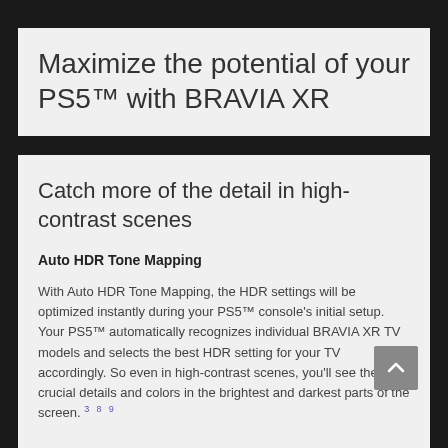Maximize the potential of your PS5™ with BRAVIA XR
Catch more of the detail in high-contrast scenes
Auto HDR Tone Mapping
With Auto HDR Tone Mapping, the HDR settings will be optimized instantly during your PS5™ console's initial setup. Your PS5™ automatically recognizes individual BRAVIA XR TV models and selects the best HDR setting for your TV accordingly. So even in high-contrast scenes, you'll see the crucial details and colors in the brightest and darkest parts of the screen. 3 8 9